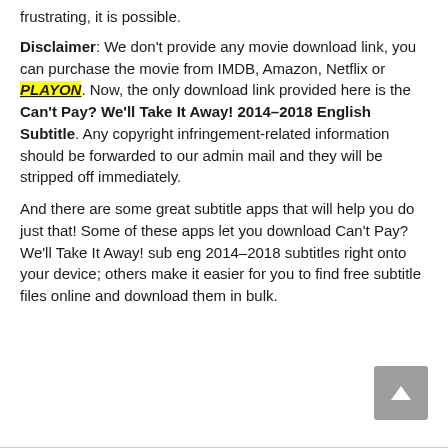frustrating, it is possible.
Disclaimer: We don't provide any movie download link, you can purchase the movie from IMDB, Amazon, Netflix or PLAYON. Now, the only download link provided here is the Can't Pay? We'll Take It Away! 2014–2018 English Subtitle. Any copyright infringement-related information should be forwarded to our admin mail and they will be stripped off immediately.
And there are some great subtitle apps that will help you do just that! Some of these apps let you download Can't Pay? We'll Take It Away! sub eng 2014–2018 subtitles right onto your device; others make it easier for you to find free subtitle files online and download them in bulk.